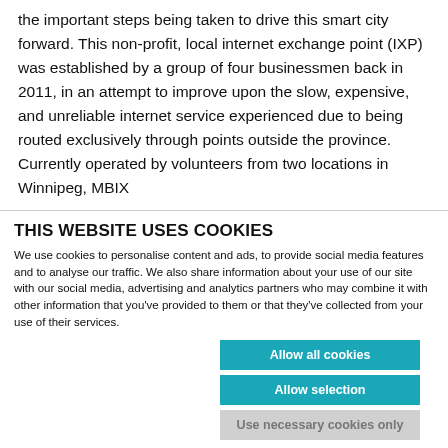the important steps being taken to drive this smart city forward. This non-profit, local internet exchange point (IXP) was established by a group of four businessmen back in 2011, in an attempt to improve upon the slow, expensive, and unreliable internet service experienced due to being routed exclusively through points outside the province. Currently operated by volunteers from two locations in Winnipeg, MBIX
THIS WEBSITE USES COOKIES
We use cookies to personalise content and ads, to provide social media features and to analyse our traffic. We also share information about your use of our site with our social media, advertising and analytics partners who may combine it with other information that you've provided to them or that they've collected from your use of their services.
Allow all cookies
Allow selection
Use necessary cookies only
NECESSARY PREFERENCES STATISTICS MARKETING Show details